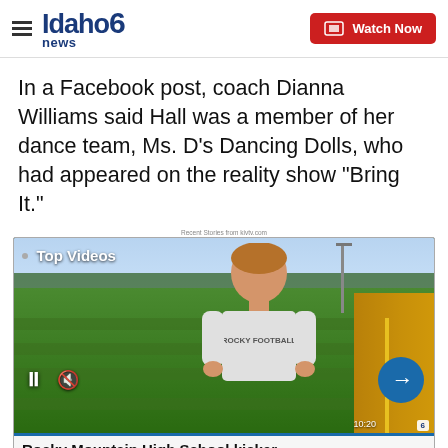Idaho News 6 — Watch Now
In a Facebook post, coach Dianna Williams said Hall was a member of her dance team, Ms. D's Dancing Dolls, who had appeared on the reality show "Bring It."
Recent Stories from kivtv.com
[Figure (screenshot): Video thumbnail showing a teenage boy wearing a 'Rocky Football' shirt standing on a sports field with a track. Overlaid text reads 'Top Videos'. Video controls show pause and mute icons on the lower left and a blue arrow button on the lower right. A caption bar at the bottom reads 'Rocky Mountain High School kicker'.]